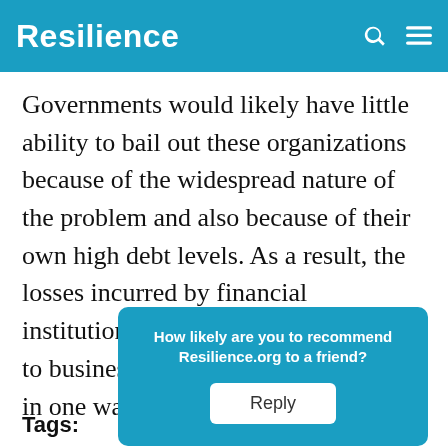Resilience
Governments would likely have little ability to bail out these organizations because of the widespread nature of the problem and also because of their own high debt levels. As a result, the losses incurred by financial institutions seem likely be passed on to businesses and individual citizens, in one way or another.
How likely are you to recommend Resilience.org to a friend? Reply
Tags: